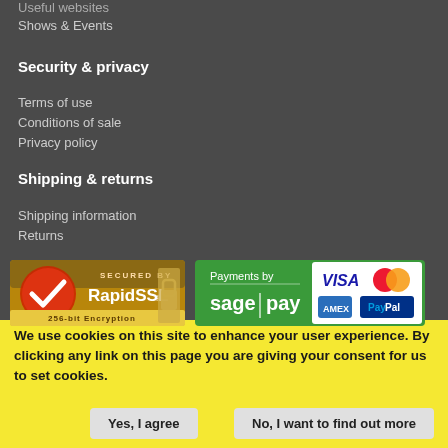Useful websites
Shows & Events
Security & privacy
Terms of use
Conditions of sale
Privacy policy
Shipping & returns
Shipping information
Returns
[Figure (logo): RapidSSL 256-bit Encryption secured badge and Sage Pay payments badge with Visa, Mastercard, American Express, PayPal logos]
We use cookies on this site to enhance your user experience. By clicking any link on this page you are giving your consent for us to set cookies.
Yes, I agree
No, I want to find out more